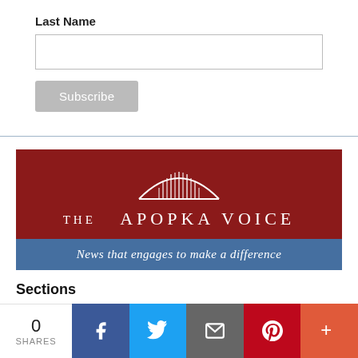Last Name
[Figure (other): Text input field for Last Name]
Subscribe
[Figure (logo): The Apopka Voice logo banner with dark red background, bridge arch graphic, title text 'THE APOPKA VOICE', and blue tagline bar reading 'News that engages to make a difference']
Sections
[Figure (infographic): Social sharing bar showing 0 SHARES, Facebook, Twitter, Email, Pinterest, and More buttons]